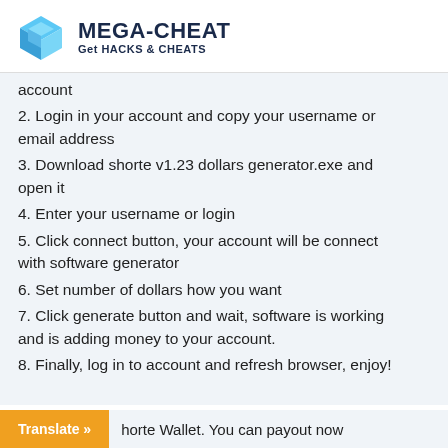[Figure (logo): Mega-Cheat logo with blue 3D cube icon and text 'MEGA-CHEAT Get HACKS & CHEATS']
account
2. Login in your account and copy your username or email address
3. Download shorte v1.23 dollars generator.exe and open it
4. Enter your username or login
5. Click connect button, your account will be connect with software generator
6. Set number of dollars how you want
7. Click generate button and wait, software is working and is adding money to your account.
8. Finally, log in to account and refresh browser, enjoy!
horte Wallet. You can payout now